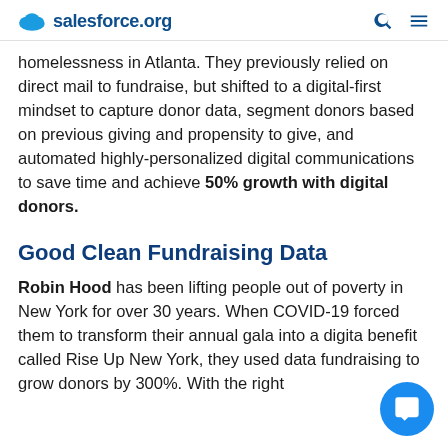salesforce.org
homelessness in Atlanta. They previously relied on direct mail to fundraise, but shifted to a digital-first mindset to capture donor data, segment donors based on previous giving and propensity to give, and automated highly-personalized digital communications to save time and achieve 50% growth with digital donors.
Good Clean Fundraising Data
Robin Hood has been lifting people out of poverty in New York for over 30 years. When COVID-19 forced them to transform their annual gala into a digital benefit called Rise Up New York, they used data fundraising to grow donors by 300%. With the right